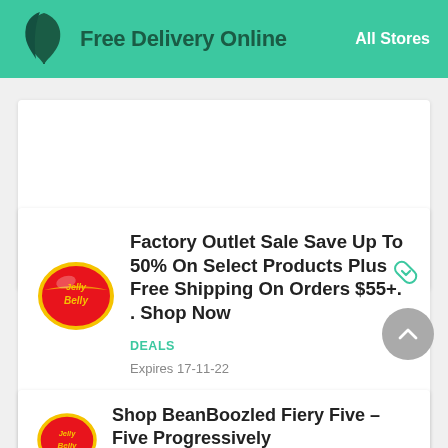Free Delivery Online   All Stores
Factory Outlet Sale Save Up To 50% On Select Products Plus Free Shipping On Orders $55+. . Shop Now
DEALS
Expires 17-11-22
Shop BeanBoozled Fiery Five – Five Progressively Hotter Flavors